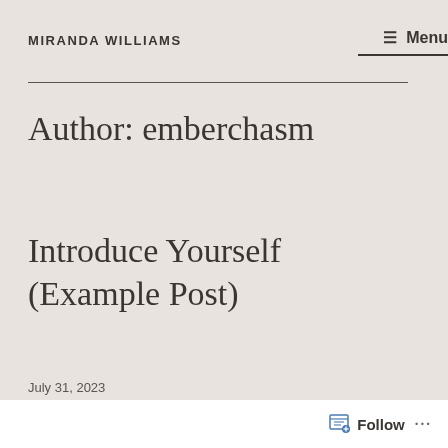MIRANDA WILLIAMS
☰ Menu
Author: emberchasm
Introduce Yourself (Example Post)
Follow ...